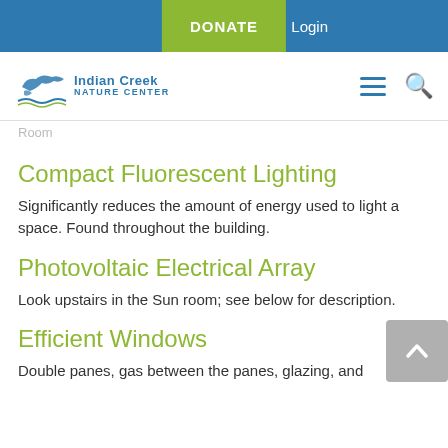DONATE | Login — Indian Creek Nature Center navigation bar
[Figure (logo): Indian Creek Nature Center logo with bird and water graphic, blue text]
Room
Compact Fluorescent Lighting
Significantly reduces the amount of energy used to light a space. Found throughout the building.
Photovoltaic Electrical Array
Look upstairs in the Sun room; see below for description.
Efficient Windows
Double panes, gas between the panes, glazing, and